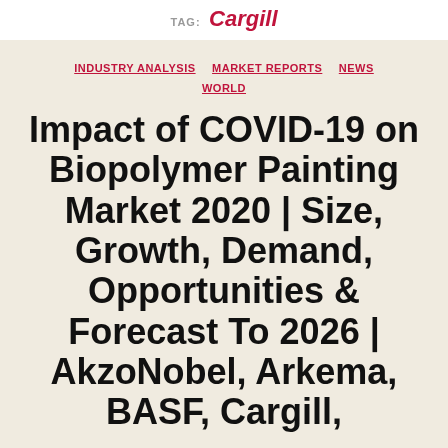Tag: Cargill
INDUSTRY ANALYSIS  MARKET REPORTS  NEWS  WORLD
Impact of COVID-19 on Biopolymer Painting Market 2020 | Size, Growth, Demand, Opportunities & Forecast To 2026 | AkzoNobel, Arkema, BASF, Cargill...